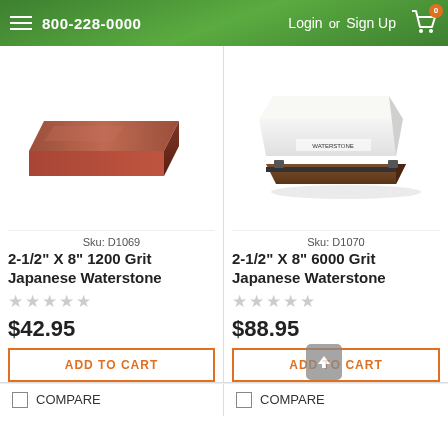800-228-0000  Login or Sign Up
[Figure (photo): Brown rectangular sharpening stone (1200 grit Japanese waterstone)]
[Figure (photo): White rectangular sharpening stone on wooden base (6000 grit Japanese waterstone)]
Sku: D1069
2-1/2" X 8" 1200 Grit Japanese Waterstone
★★★★★
$42.95
ADD TO CART
Sku: D1070
2-1/2" X 8" 6000 Grit Japanese Waterstone
★★★★★
$88.95
ADD TO CART
COMPARE
COMPARE